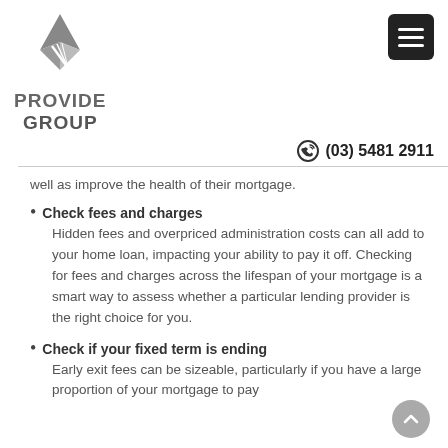[Figure (logo): Provide Group logo with angular geometric diamond/arrow shape above text reading PROVIDE GROUP]
[Figure (other): Hamburger menu button (three horizontal white lines on dark background)]
(03) 5481 2911
well as improve the health of their mortgage.
Check fees and charges
Hidden fees and overpriced administration costs can all add to your home loan, impacting your ability to pay it off. Checking for fees and charges across the lifespan of your mortgage is a smart way to assess whether a particular lending provider is the right choice for you.
Check if your fixed term is ending
Early exit fees can be sizeable, particularly if you have a large proportion of your mortgage to pay